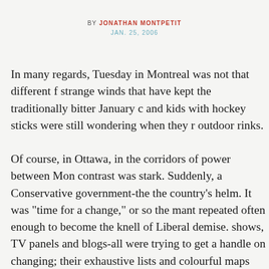BY JONATHAN MONTPETIT
JAN. 25, 2006
In many regards, Tuesday in Montreal was not that different f… strange winds that have kept the traditionally bitter January c… and kids with hockey sticks were still wondering when they r… outdoor rinks.
Of course, in Ottawa, in the corridors of power between Mon… contrast was stark. Suddenly, a Conservative government-the… the country's helm. It was "time for a change," or so the mant… repeated often enough to become the knell of Liberal demise.… shows, TV panels and blogs-all were trying to get a handle on… changing; their exhaustive lists and colourful maps processed… positions and the geography. But amid the facts a more cereb… country's future emerged. Stephen Harper's Monday-night vic…